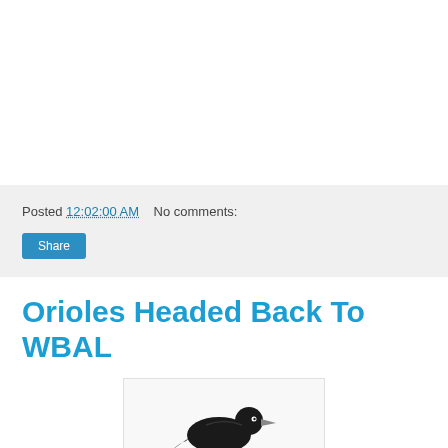Posted 12:02:00 AM   No comments:
Share
Orioles Headed Back To WBAL
[Figure (photo): Partial image of a black bird (oriole), showing head and upper body against a white/light background, within a bordered frame]